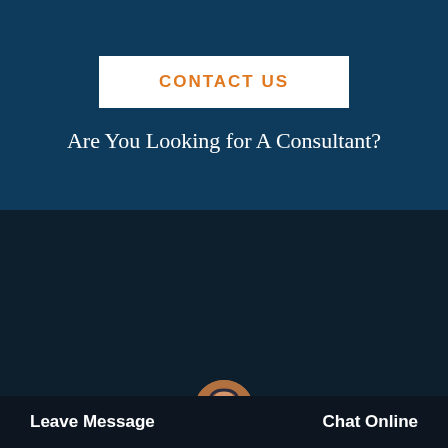CONTACT US
Are You Looking for A Consultant?
Latest News
How Bauxite Do I Have In The Rod Mill Valley
Operation Principle And Characteristics Of Jaw Crusher
10000 Vertical Impact Crus...
Fine Jaw Crusher 750X1060
Leave Message
Chat Online